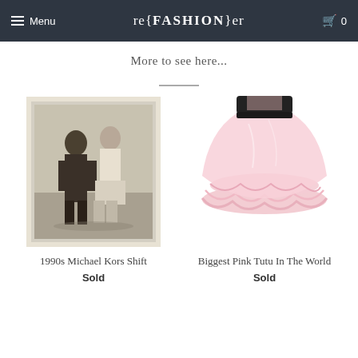Menu | re{FASHION}er | 0
More to see here...
[Figure (photo): Vintage black and white photo of a couple, man and woman, standing together, likely 1990s era fashion photo used as product listing image for 1990s Michael Kors Shift]
1990s Michael Kors Shift
Sold
[Figure (photo): Pink fluffy tutu skirt, very full and ruffled, shown on a mannequin against white background, product listing image for Biggest Pink Tutu In The World]
Biggest Pink Tutu In The World
Sold